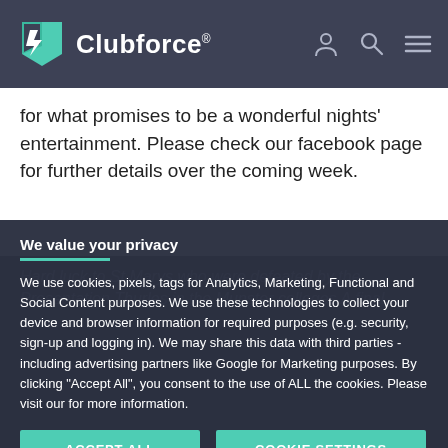Clubforce®
for what promises to be a wonderful nights' entertainment. Please check our facebook page for further details over the coming week.
We value your privacy
We use cookies, pixels, tags for Analytics, Marketing, Functional and Social Content purposes. We use these technologies to collect your device and browser information for required purposes (e.g. security, sign-up and logging in). We may share this data with third parties - including advertising partners like Google for Marketing purposes. By clicking "Accept All", you consent to the use of ALL the cookies. Please visit our for more information.
ACCEPT ALL
COOKIE SETTINGS